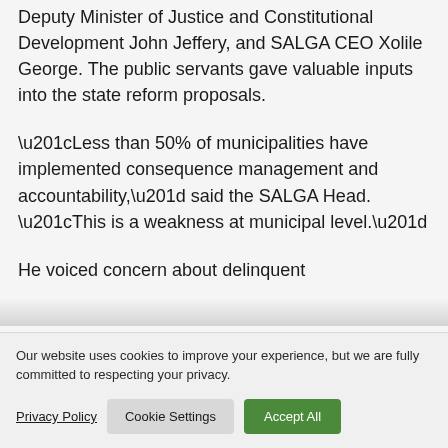Deputy Minister of Justice and Constitutional Development John Jeffery, and SALGA CEO Xolile George. The public servants gave valuable inputs into the state reform proposals.
“Less than 50% of municipalities have implemented consequence management and accountability,” said the SALGA Head. “This is a weakness at municipal level.”
He voiced concern about delinquent
Our website uses cookies to improve your experience, but we are fully committed to respecting your privacy.